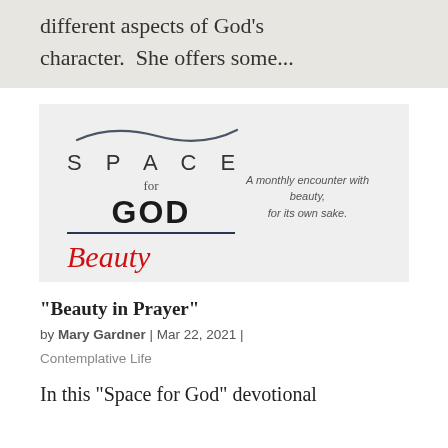different aspects of God's character.  She offers some...
[Figure (logo): Space for God Beauty logo with wave graphic above 'SPACE for GOD' text and 'Beauty' in red italic below. Tagline reads 'A monthly encounter with beauty, for its own sake.']
“Beauty in Prayer”
by Mary Gardner | Mar 22, 2021 |
Contemplative Life
In this “Space for God” devotional